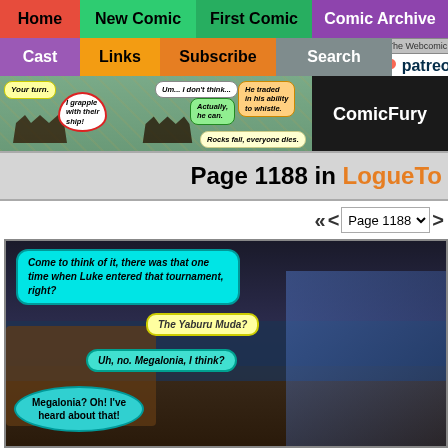Home | New Comic | First Comic | Comic Archive | Cast | Links | Subscribe | Search
[Figure (screenshot): Webcomic navigation banner with comic strip showing pirates with speech bubbles: 'Your turn.', 'I grapple with their ship!', 'Um... I don't think...', 'Actually, he can.', 'He traded in his ability to whistle.', 'Rocks fall, everyone dies.']
Page 1188 in LogueTown
[Figure (screenshot): Comic page navigation with double-left arrows, left arrow, Page 1188 dropdown, and right arrow]
[Figure (illustration): Comic panel showing characters with speech bubbles: 'Come to think of it, there was that one time when Luke entered that tournament, right?', 'The Yaburu Muda?', 'Uh, no. Megalonia, I think?', 'Megalonia? Oh! I've heard about that!']